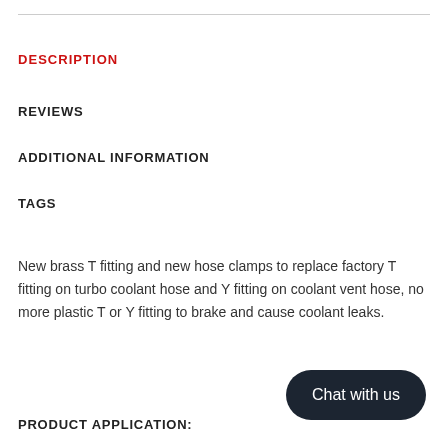DESCRIPTION
REVIEWS
ADDITIONAL INFORMATION
TAGS
New brass T fitting and new hose clamps to replace factory T fitting on turbo coolant hose and Y fitting on coolant vent hose, no more plastic T or Y fitting to brake and cause coolant leaks.
PRODUCT APPLICATION: